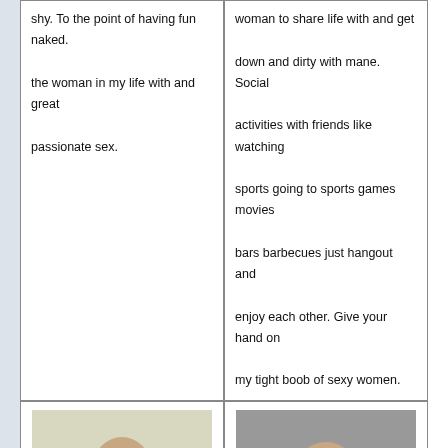shy. To the point of having fun naked. the woman in my life with and great passionate sex.
woman to share life with and get down and dirty with mane. Social activities with friends like watching sports going to sports games movies bars barbecues just hangout and enjoy each other. Give your hand on my tight boob of sexy women.
[Figure (photo): Photo of a young woman with long brown hair, topless, outdoors with a watermark.]
Heaet me fuckes booking girl kuching sex.
[Figure (photo): Photo of a woman posing indoors, partially clothed, with a watermark.]
Wide open BBW pussy in Santa Barbara.